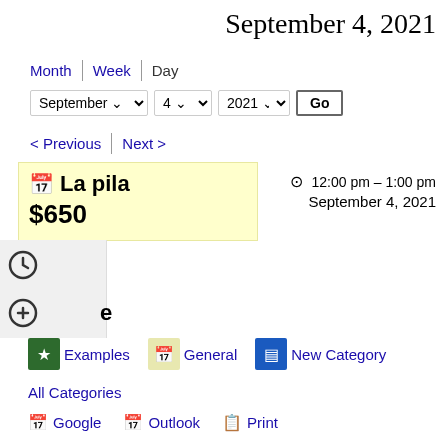September 4, 2021
Month | Week | Day
September 4 2021 Go
< Previous | Next >
La pila
$650
12:00 pm – 1:00 pm
September 4, 2021
Examples  General  New Category
All Categories
Google  Outlook  Print